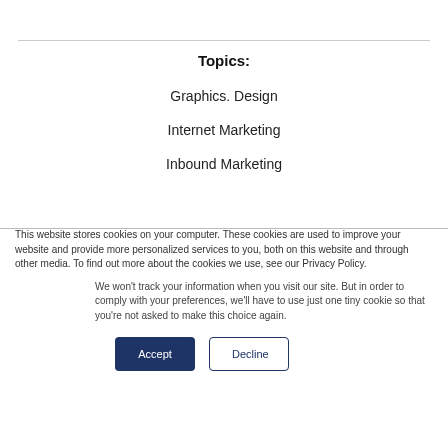Topics:
Graphics. Design
Internet Marketing
Inbound Marketing
This website stores cookies on your computer. These cookies are used to improve your website and provide more personalized services to you, both on this website and through other media. To find out more about the cookies we use, see our Privacy Policy.
We won't track your information when you visit our site. But in order to comply with your preferences, we'll have to use just one tiny cookie so that you're not asked to make this choice again.
Accept   Decline